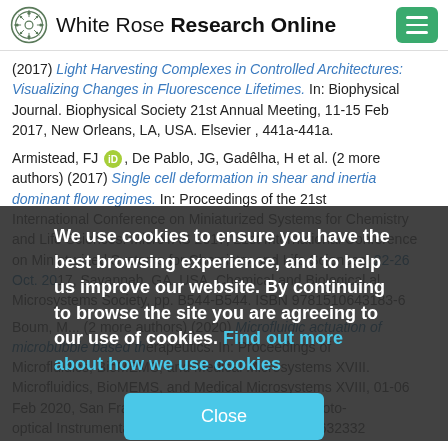White Rose Research Online
(2017) Light Harvesting Complexes in Controlled Architectures: Visualizing Changes in Fluorescence Lifetimes. In: Biophysical Journal. Biophysical Society 21st Annual Meeting, 11-15 Feb 2017, New Orleans, LA, USA. Elsevier , 441a-441a.
Armistead, FJ [ORCID], De Pablo, JG, Gadêlha, H et al. (2 more authors) (2017) Single cell deformation in shear and inertia dominant flow regimes. In: Proceedings of the 21st International Conference on Miniaturized Systems for Chemistry and Life Sciences. MicroTAS 2017, 21st International Conference on Miniaturized Systems for Chemistry and Life Sciences, 22-26 Oct 2017, Savannah, GA, USA. Chemical and Biological Microsystems Society, pp. B544-B544. ISBN 9781510643183-6
Boum, M... (2 more authors) (2020) Microfluidic actuation of microbubble based therapeutics. In: Proceedings of Microfluidics, BioMEMS, and Medical Microsystems XVIII. Microfluidics, BioMEMS, and Medical Microsystems XVIII, 01-06 Feb 2020, San Francisco, CA, USA. Society of Photo-optical Instrumentation Engineers. ISBN 9781510632332
We use cookies to ensure you have the best browsing experience, and to help us improve our website. By continuing to browse the site you are agreeing to our use of cookies. Find out more about how we use cookies